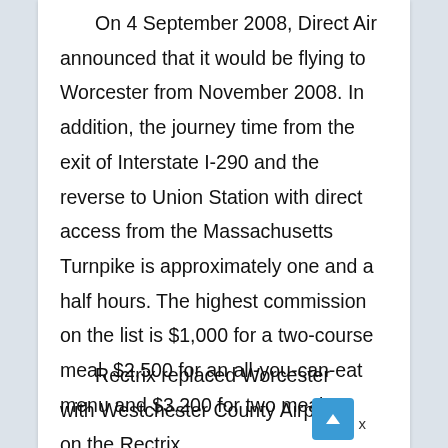On 4 September 2008, Direct Air announced that it would be flying to Worcester from November 2008. In addition, the journey time from the exit of Interstate I-290 and the reverse to Union Station with direct access from the Massachusetts Turnpike is approximately one and a half hours. The highest commission on the list is $1,000 for a two-course meal, $2,500 for an all-you-can-eat menu and $3,200 for two meals.
Rectrix replaced Worcester with Westchester County Airport on the Rectrix